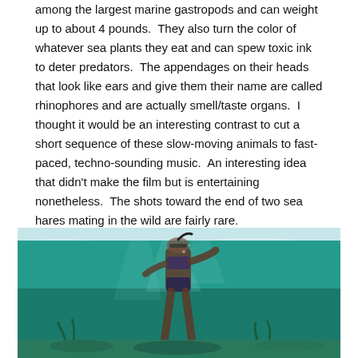among the largest marine gastropods and can weight up to about 4 pounds.  They also turn the color of whatever sea plants they eat and can spew toxic ink to deter predators.  The appendages on their heads that look like ears and give them their name are called rhinophores and are actually smell/taste organs.  I thought it would be an interesting contrast to cut a short sequence of these slow-moving animals to fast-paced, techno-sounding music.  An interesting idea that didn't make the film but is entertaining nonetheless.  The shots toward the end of two sea hares mating in the wild are fairly rare.
[Figure (photo): Underwater photo of a person snorkeling, seen from below the water surface. The water is teal/turquoise and the seafloor is visible below.]